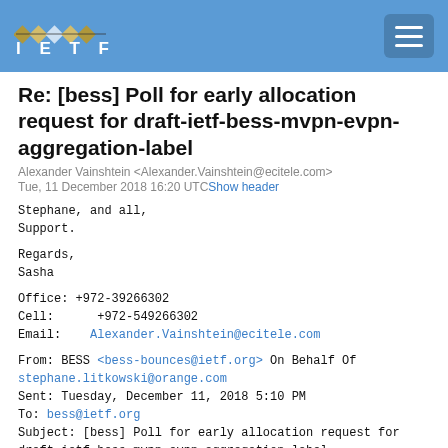IETF
Re: [bess] Poll for early allocation request for draft-ietf-bess-mvpn-evpn-aggregation-label
Alexander Vainshtein <Alexander.Vainshtein@ecitele.com>
Tue, 11 December 2018 16:20 UTC Show header
Stephane, and all,
Support.

Regards,
Sasha

Office: +972-39266302
Cell:      +972-549266302
Email:    Alexander.Vainshtein@ecitele.com

From: BESS <bess-bounces@ietf.org> On Behalf Of stephane.litkowski@orange.com
Sent: Tuesday, December 11, 2018 5:10 PM
To: bess@ietf.org
Subject: [bess] Poll for early allocation request for draft-ietf-bess-mvpn-evpn-aggregation-label